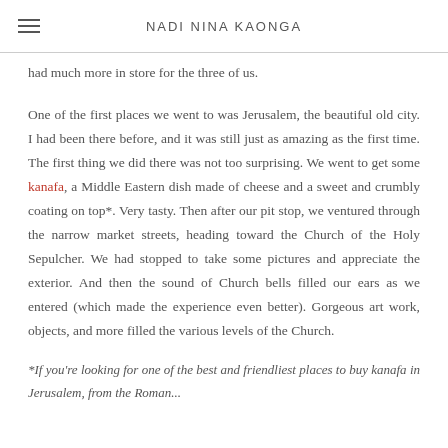NADI NINA KAONGA
had much more in store for the three of us.
One of the first places we went to was Jerusalem, the beautiful old city. I had been there before, and it was still just as amazing as the first time. The first thing we did there was not too surprising. We went to get some kanafa, a Middle Eastern dish made of cheese and a sweet and crumbly coating on top*. Very tasty. Then after our pit stop, we ventured through the narrow market streets, heading toward the Church of the Holy Sepulcher. We had stopped to take some pictures and appreciate the exterior. And then the sound of Church bells filled our ears as we entered (which made the experience even better). Gorgeous art work, objects, and more filled the various levels of the Church.
*If you're looking for one of the best and friendliest places to buy kanafa in Jerusalem, from the Roman...